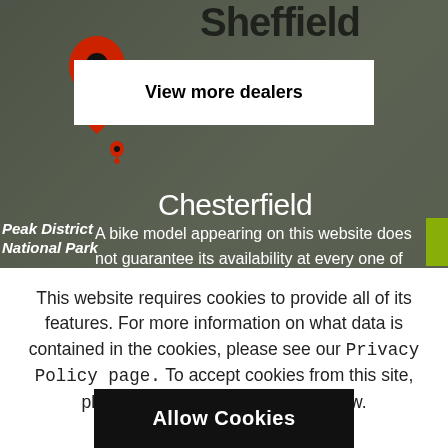[Figure (screenshot): Google Maps view showing Sheffield/Chesterfield area with a red map pin, Peak District National Park label, and Chesterfield city label. Dark overlay applied over the map.]
View more dealers
Chesterfield
Peak District
National Park
A bike model appearing on this website does not guarantee its availability at every one of our independent bike dealers.

If your local retailer does not have stock available, please
This website requires cookies to provide all of its features. For more information on what data is contained in the cookies, please see our Privacy Policy page. To accept cookies from this site, please click the Accept button below.
Allow Cookies